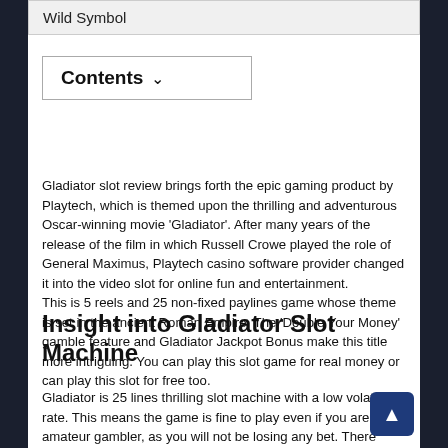Wild Symbol
Contents ∨
Gladiator slot review brings forth the epic gaming product by Playtech, which is themed upon the thrilling and adventurous Oscar-winning movie 'Gladiator'. After many years of the release of the film in which Russell Crowe played the role of General Maximus, Playtech casino software provider changed it into the video slot for online fun and entertainment. This is 5 reels and 25 non-fixed paylines game whose theme is set in the ancient Roman Empire. The 'Double Your Money' gamble feature and Gladiator Jackpot Bonus make this title more intriguing. You can play this slot game for real money or can play this slot for free too.
Insight into Gladiator Slot Machine
Gladiator is 25 lines thrilling slot machine with a low volatility rate. This means the game is fine to play even if you are an amateur gambler, as you will not be losing any bet. There are no high rollers involved so that you can be at ease. The game